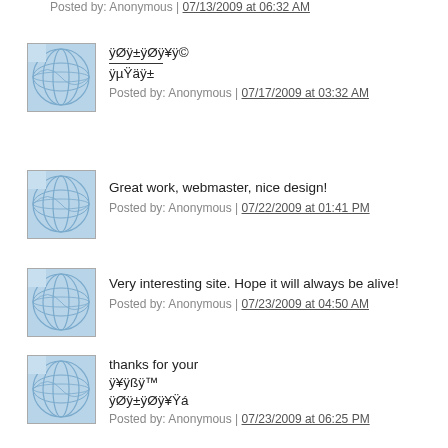Posted by: Anonymous | 07/13/2009 at 06:32 AM
ÿØÿ±ÿØÿ¥ÿ© / ÿµŸäÿ± — Posted by: Anonymous | 07/17/2009 at 03:32 AM
Great work, webmaster, nice design! — Posted by: Anonymous | 07/22/2009 at 01:41 PM
Very interesting site. Hope it will always be alive! — Posted by: Anonymous | 07/23/2009 at 04:50 AM
thanks for your / ÿ¥ÿßÿ™ / ÿØÿ±ÿØÿ¥Ÿá — Posted by: Anonymous | 07/23/2009 at 06:25 PM